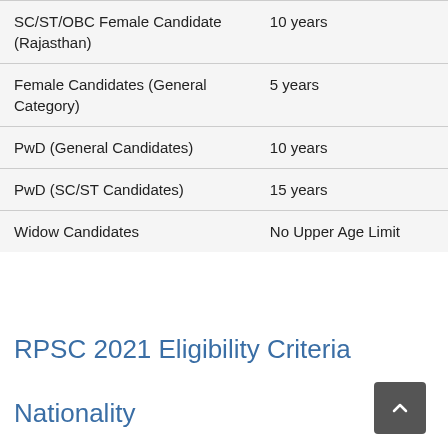| Category | Age Relaxation |
| --- | --- |
| SC/ST/OBC Female Candidate (Rajasthan) | 10 years |
| Female Candidates (General Category) | 5 years |
| PwD (General Candidates) | 10 years |
| PwD (SC/ST Candidates) | 15 years |
| Widow Candidates | No Upper Age Limit |
RPSC 2021 Eligibility Criteria
Nationality